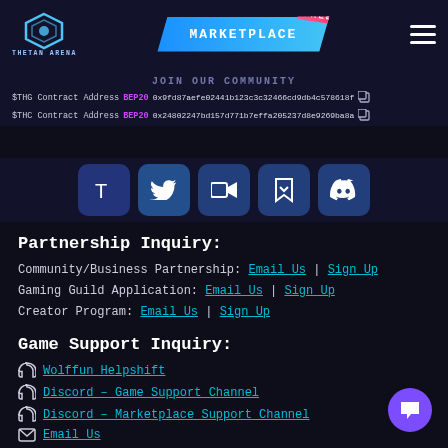THETAN ARENA | MARKETPLACE
$THG Contract Address BEP20 0x9fd87aefe02441b123c3c32466cd9db4c578618f
$THC Contract Address BEP20 0x24802247bd157d771b7effa205237d8e9269ba8a
[Figure (screenshot): Social media icon buttons row: Telegram, Twitter, Video, Bookmark, Discord]
Partnership Inquiry:
Community/Business Partnership: Email Us | Sign Up
Gaming Guild Application: Email Us | Sign Up
Creator Program: Email Us | Sign Up
Game Support Inquiry:
Wolffun Helpshift
Discord – Game Support Channel
Discord – Marketplace Support Channel
Email Us